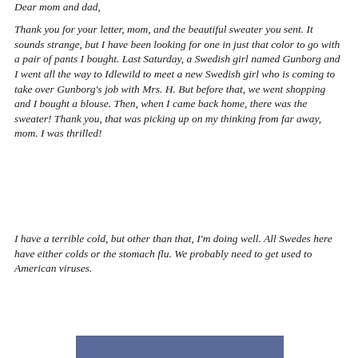Dear mom and dad,
Thank you for your letter, mom, and the beautiful sweater you sent. It sounds strange, but I have been looking for one in just that color to go with a pair of pants I bought. Last Saturday, a Swedish girl named Gunborg and I went all the way to Idlewild to meet a new Swedish girl who is coming to take over Gunborg’s job with Mrs. H. But before that, we went shopping and I bought a blouse. Then, when I came back home, there was the sweater! Thank you, that was picking up on my thinking from far away, mom. I was thrilled!
I have a terrible cold, but other than that, I’m doing well. All Swedes here have either colds or the stomach flu. We probably need to get used to American viruses.
[Figure (other): Blue/slate colored rectangular bar at the bottom of the page]